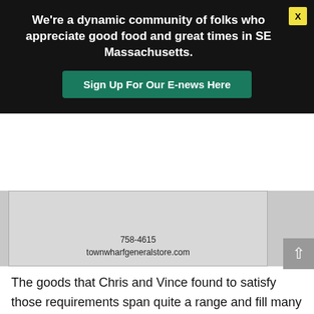We're a dynamic community of folks who appreciate good food and great times in SE Massachusetts.
Sign Up For Our E-news Here
[Figure (photo): Partial photo showing a store sign with phone number 758-4615 and website townwharfgeneralstore.com]
The goods that Chris and Vince found to satisfy those requirements span quite a range and fill many household and culinary desires. From an amazing spread of artisan cheeses, to scrumptious snacks for a trail walk, to contemporary cocktail mixes, Town Wharf offers all the basics and then some. The neatly hung cast iron pans, assortment of locally inspired cookbooks, and mason jar